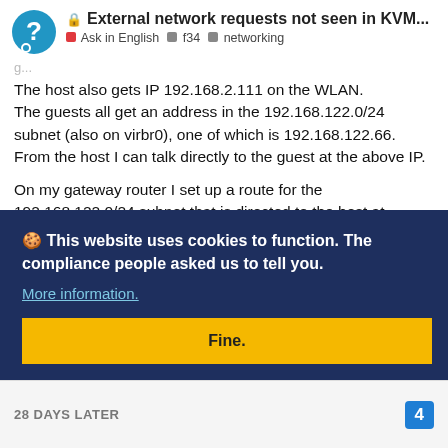External network requests not seen in KVM... | Ask in English | f34 | networking
The host also gets IP 192.168.2.111 on the WLAN. The guests all get an address in the 192.168.122.0/24 subnet (also on virbr0), one of which is 192.168.122.66. From the host I can talk directly to the guest at the above IP.
On my gateway router I set up a route for the 192.168.122.0/24 subnet that is directed to the host at 192.168.2.111. Once that was done then any other device on my WLAN can contact my VMs simply by knowing which IP to
with ssh
rom the
mes
🍪 This website uses cookies to function. The compliance people asked us to tell you.
More information.
Fine.
28 DAYS LATER